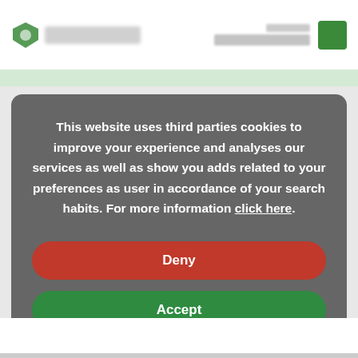[Figure (screenshot): Website header with blurred logo on the left and blurred navigation/login elements on the right with a green square icon]
This website uses third parties cookies to improve your experience and analyses our services as well as show you adds related to your preferences as user in accordance of your search habits. For more information click here.
Deny
Accept